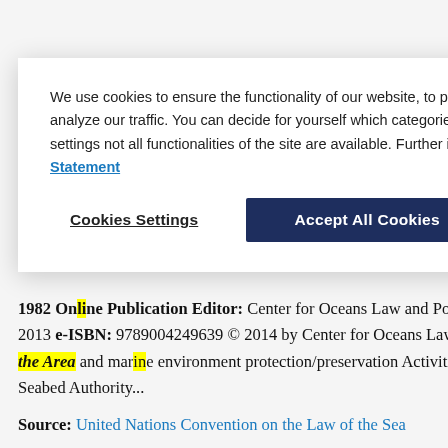We use cookies to ensure the functionality of our website, to personalize content, to provide social media features, and to analyze our traffic. You can decide for yourself which categories you want to deny or allow. Please note that based on your settings not all functionalities of the site are available. Further information can be found in our privacy policy. Privacy Statement
Cookies Settings | Accept All Cookies
1982 Online Publication Editor: Center for Oceans Law and Policy University of Virginia Brill | Nijhoff, Leiden | Boston, 2013 e-ISBN: 9789004249639 © 2014 by Center for Oceans Law and Policy and Koninklijke Brill NV Subjects Activities in the Area and marine environment protection/preservation Activities in the Area U.S. or use of term Authority (International Seabed Authority...
Source: United Nations Convention on the Law of the Sea